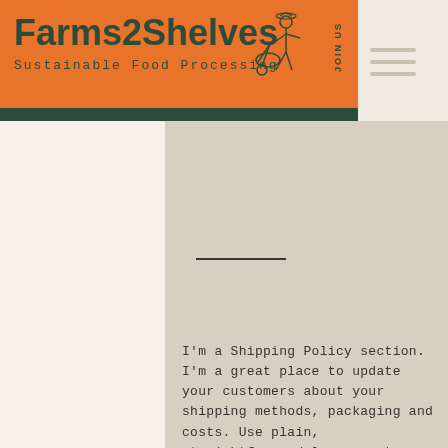Farms2Shelves — Sustainable Food Processing
[Figure (illustration): Line drawing of a farmer with a wheelbarrow, used as site logo icon]
JOIN US
[Figure (other): Hamburger menu icon with three horizontal lines]
I'm a Shipping Policy section. I'm a great place to update your customers about your shipping methods, packaging and costs. Use plain, straightforward language to build trust and make sure that your